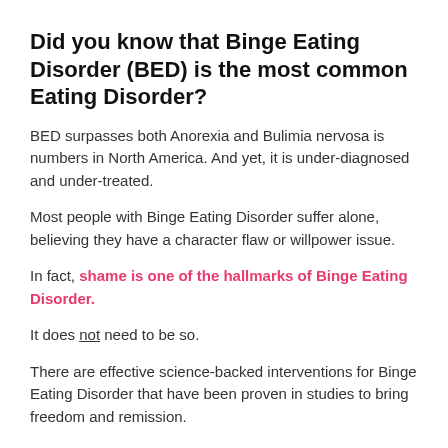Did you know that Binge Eating Disorder (BED) is the most common Eating Disorder?
BED surpasses both Anorexia and Bulimia nervosa is numbers in North America. And yet, it is under-diagnosed and under-treated.
Most people with Binge Eating Disorder suffer alone, believing they have a character flaw or willpower issue.
In fact, shame is one of the hallmarks of Binge Eating Disorder.
It does not need to be so.
There are effective science-backed interventions for Binge Eating Disorder that have been proven in studies to bring freedom and remission.